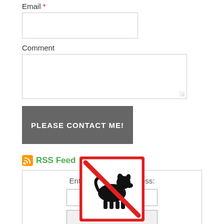Email *
Comment
PLEASE CONTACT ME!
RSS Feed
Enter your email address:
Subscribe
Delivered by FeedBurner
[Figure (illustration): No dogs allowed sign: a red-bordered square containing a black silhouette of a dog with a red diagonal line through it]